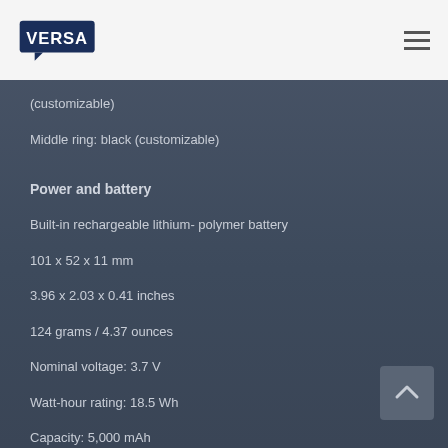VERSA (logo)
(customizable)
Middle ring: black (customizable)
Power and battery
Built-in rechargeable lithium- polymer battery
101 x 52 x 11 mm
3.96 x 2.03 x 0.41 inches
124 grams / 4.37 ounces
Nominal voltage: 3.7 V
Watt-hour rating: 18.5 Wh
Capacity: 5,000 mAh